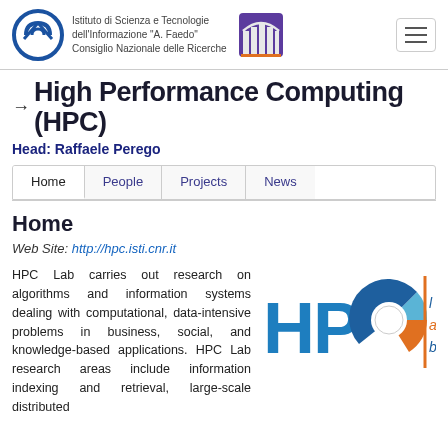Istituto di Scienza e Tecnologia dell'Informazione "A. Faedo" Consiglio Nazionale delle Ricerche
High Performance Computing (HPC)
Head: Raffaele Perego
Home  People  Projects  News
Home
Web Site: http://hpc.isti.cnr.it
[Figure (logo): HPC Lab logo with blue letters H, P, O and pie chart graphic with 'lab' text in orange/blue]
HPC Lab carries out research on algorithms and information systems dealing with computational, data-intensive problems in business, social, and knowledge-based applications. HPC Lab research areas include information indexing and retrieval, large-scale distributed